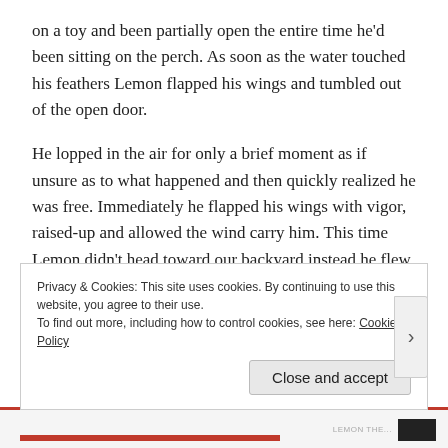on a toy and been partially open the entire time he'd been sitting on the perch. As soon as the water touched his feathers Lemon flapped his wings and tumbled out of the open door.
He lopped in the air for only a brief moment as if unsure as to what happened and then quickly realized he was free. Immediately he flapped his wings with vigor, raised-up and allowed the wind carry him. This time Lemon didn't head toward our backyard instead he flew above and beyond the houses next to us. It all happened so fast that before I could shout, "Lemon
Privacy & Cookies: This site uses cookies. By continuing to use this website, you agree to their use.
To find out more, including how to control cookies, see here: Cookie Policy